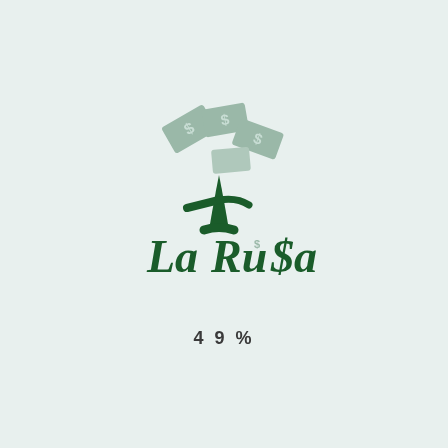[Figure (logo): La Rusa logo featuring a stylized dark green tree trunk with light green money bills (marked with dollar signs) as the canopy/leaves, and the text 'La Ru$a' in dark green cursive/script font integrated with the tree design.]
49%